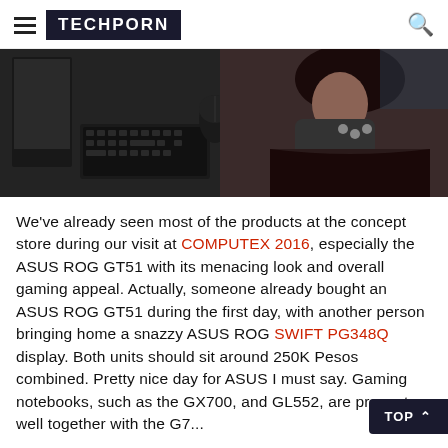TECHPORN
[Figure (photo): Gaming scene showing keyboard and mouse on left, and a person holding a game controller on the right, dark background.]
We've already seen most of the products at the concept store during our visit at COMPUTEX 2016, especially the ASUS ROG GT51 with its menacing look and overall gaming appeal. Actually, someone already bought an ASUS ROG GT51 during the first day, with another person bringing home a snazzy ASUS ROG SWIFT PG348Q display. Both units should sit around 250K Pesos combined. Pretty nice day for ASUS I must say. Gaming notebooks, such as the GX700, and GL552, are present as well together with the G7...